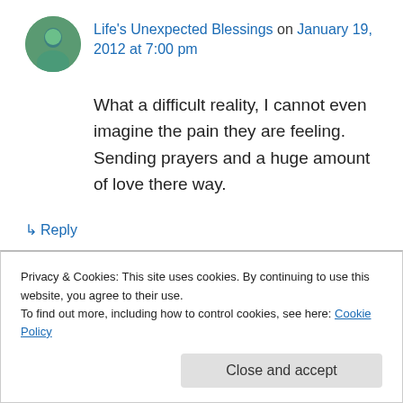Life's Unexpected Blessings on January 19, 2012 at 7:00 pm
What a difficult reality, I cannot even imagine the pain they are feeling. Sending prayers and a huge amount of love there way.
↳ Reply
REPORT THIS AD
Privacy & Cookies: This site uses cookies. By continuing to use this website, you agree to their use. To find out more, including how to control cookies, see here: Cookie Policy
Close and accept
will be definitely thinking about them. Sending